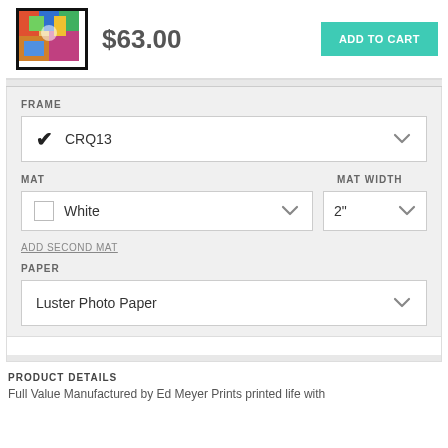[Figure (illustration): Small framed artwork thumbnail showing colorful abstract painting]
$63.00
ADD TO CART
FRAME
CRQ13
MAT
MAT WIDTH
White
2"
ADD SECOND MAT
PAPER
Luster Photo Paper
PRODUCT DETAILS
Full Value Manufactured by Ed Meyer Prints printed life with